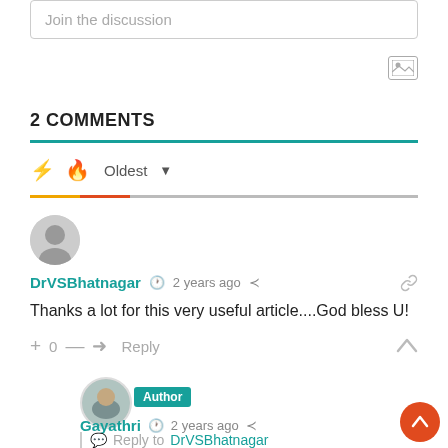Join the discussion
2 COMMENTS
Oldest
DrVSBhatnagar  2 years ago
Thanks a lot for this very useful article....God bless U!
+ 0 —  Reply
Gayathri  2 years ago
Reply to DrVSBhatnagar